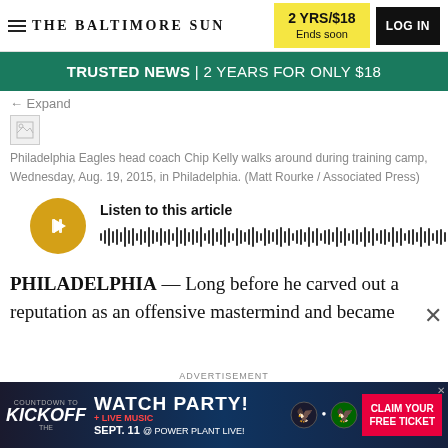THE BALTIMORE SUN | 2 YRS/$18 Ends soon | LOG IN
TRUSTED NEWS | 2 YEARS FOR ONLY $18
← Expand
[Figure (photo): Broken/loading image placeholder]
Philadelphia Eagles head coach Chip Kelly walks around during training camp, Wednesday, Aug. 19, 2015, in Philadelphia. (Matt Rourke / Associated Press)
[Figure (other): Audio player widget with play button and waveform. Label: Listen to this article]
PHILADELPHIA — Long before he carved out a reputation as an offensive mastermind and became
ADVERTISEMENT — Watch Party! Kickoff Live Music Sept. 11 @ Power Plant Live! Claim Your Free Ticket